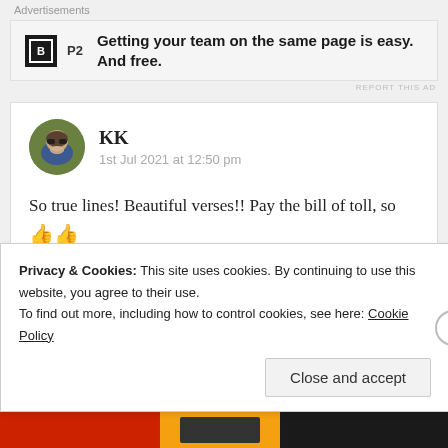Advertisements
[Figure (infographic): P2 advertisement banner: logo with letter B in square, text 'Getting your team on the same page is easy. And free.']
REPORT THIS AD
KK
1st Jul 2021 at 12:50 pm
So true lines! Beautiful verses!! Pay the bill of toll, so 👍👍
Liked by 3 people
Privacy & Cookies: This site uses cookies. By continuing to use this website, you agree to their use.
To find out more, including how to control cookies, see here: Cookie Policy
Close and accept